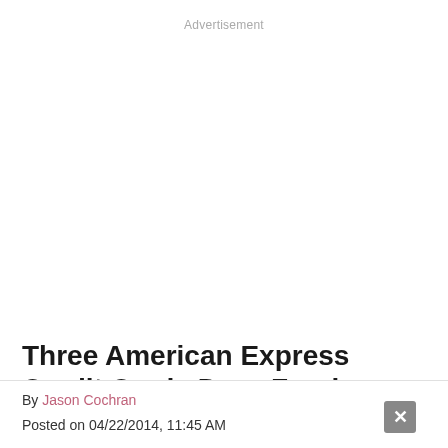Advertisement
Three American Express Credit Cards Drop Foreign Transaction Fees
By Jason Cochran
Posted on 04/22/2014, 11:45 AM